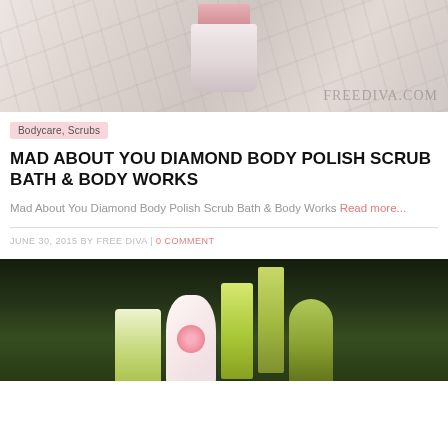[Figure (photo): Product photo of a pink body scrub jar on a marble surface with FREEDIVA.COM watermark]
Bodycare, Scrubs
MAD ABOUT YOU DIAMOND BODY POLISH SCRUB BATH & BODY WORKS
Mad About You Diamond Body Polish Scrub Bath & Body Works Read more...
JUNE 30, 2015 BY FREE DIVA | 0 COMMENT
[Figure (photo): Green bath and body works products including tubes, spray bottle, and perfume bottle on dark background]